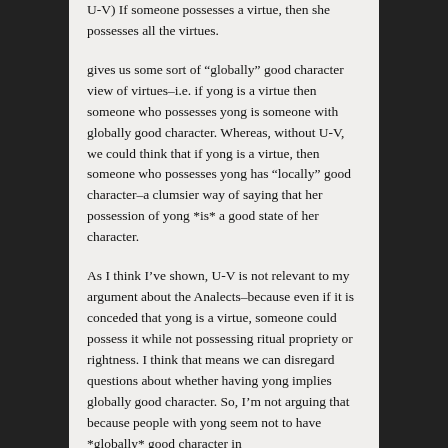U-V) If someone possesses a virtue, then she possesses all the virtues.
gives us some sort of “globally” good character view of virtues–i.e. if yong is a virtue then someone who possesses yong is someone with globally good character. Whereas, without U-V, we could think that if yong is a virtue, then someone who possesses yong has “locally” good character–a clumsier way of saying that her possession of yong *is* a good state of her character.
As I think I’ve shown, U-V is not relevant to my argument about the Analects–because even if it is conceded that yong is a virtue, someone could possess it while not possessing ritual propriety or rightness. I think that means we can disregard questions about whether having yong implies globally good character. So, I’m not arguing that because people with yong seem not to have *globally* good character in